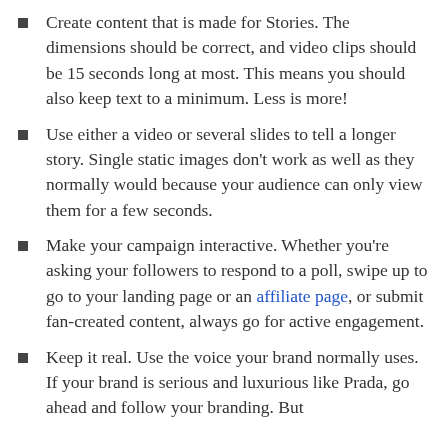Create content that is made for Stories. The dimensions should be correct, and video clips should be 15 seconds long at most. This means you should also keep text to a minimum. Less is more!
Use either a video or several slides to tell a longer story. Single static images don't work as well as they normally would because your audience can only view them for a few seconds.
Make your campaign interactive. Whether you're asking your followers to respond to a poll, swipe up to go to your landing page or an affiliate page, or submit fan-created content, always go for active engagement.
Keep it real. Use the voice your brand normally uses. If your brand is serious and luxurious like Prada, go ahead and follow your branding. But